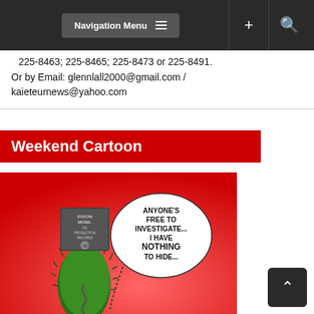Navigation Menu
225-8463; 225-8465; 225-8473 or 225-8491. Or by Email: glennlall2000@gmail.com / kaieteurnews@yahoo.com
Weekend Cartoon
[Figure (illustration): Editorial cartoon on red background showing a cactus-like figure with an ExxonMobil oil production barrel for a head, with a speech bubble reading 'ANYONE'S FREE TO INVESTIGATE... I HAVE NOTHING TO HIDE...' and a corkscrew drill going into the ground below.]